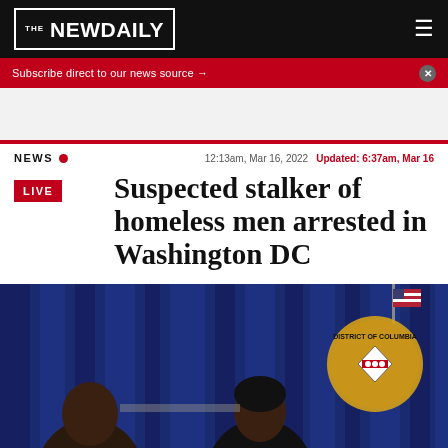[Figure (logo): The New Daily logo - white text in black bordered box]
Subscribe direct to our news source →
NEWS  12:13am, Mar 16, 2022  Updated: 6:37am, Mar 16
Suspected stalker of homeless men arrested in Washington DC
[Figure (photo): Two people at a press conference with blue drapes and DC seal in background]